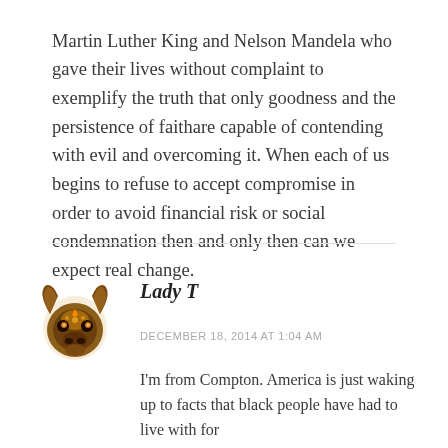Martin Luther King and Nelson Mandela who gave their lives without complaint to exemplify the truth that only goodness and the persistence of faithare capable of contending with evil and overcoming it. When each of us begins to refuse to accept compromise in order to avoid financial risk or social condemnation then and only then can we expect real change.
[Figure (illustration): Avatar icon of a decorative bull/taurus head with ornate patterns in brown, gold, and dark colors]
Lady T
DECEMBER 18, 2014 AT 1:04 AM
I'm from Compton. America is just waking up to facts that black people have had to live with for